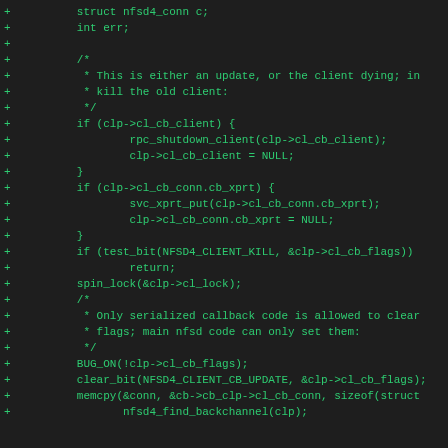Code diff showing C source additions including struct nfsd4_conn, int err, comment block about update or client dying, if statements for cl_cb_client and cl_cb_conn.cb_xprt cleanup, test_bit for NFSD4_CLIENT_KILL, spin_lock, comment about serialized callback code, BUG_ON, clear_bit, memcpy calls